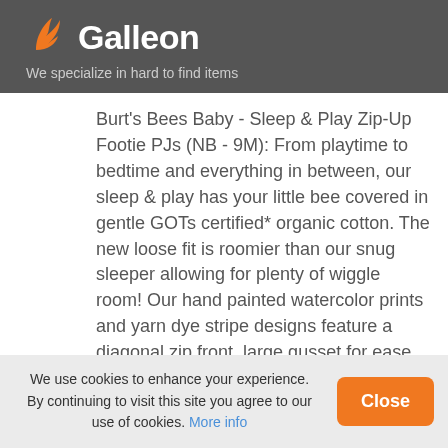[Figure (logo): Galleon logo with orange bird/flame icon and white bold 'Galleon' text on dark gray background]
We specialize in hard to find items
Burt's Bees Baby - Sleep & Play Zip-Up Footie PJs (NB - 9M): From playtime to bedtime and everything in between, our sleep & play has your little bee covered in gentle GOTs certified* organic cotton. The new loose fit is roomier than our snug sleeper allowing for plenty of wiggle room! Our hand painted watercolor prints and yarn dye stripe designs feature a diagonal zip front, large gusset for ease of movement, and non-slip bee grip booties. No-scratch convertible mittens included on sizes Newborn & 0-3 Months. Our pajamas come in 3 different styles, so when your
We use cookies to enhance your experience. By continuing to visit this site you agree to our use of cookies. More info